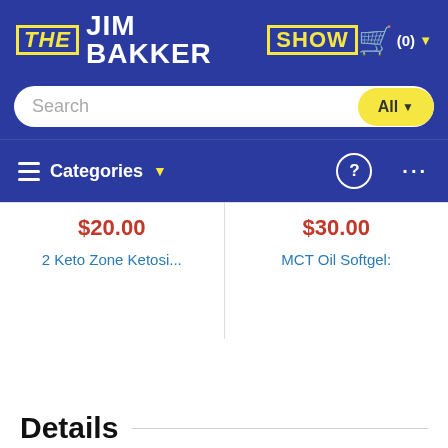THE JIM BAKKER SHOW (0)
Search All
Categories ? ...
$20.00 2 Keto Zone Ketosi...
$30.00 MCT Oil Softgel:
Details
With this offer you will receive: